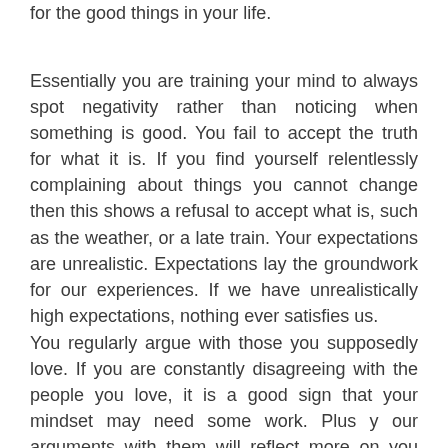focus to often on what is wrong, and forget to be grateful for the good things in your life.
Essentially you are training your mind to always spot negativity rather than noticing when something is good. You fail to accept the truth for what it is. If you find yourself relentlessly complaining about things you cannot change then this shows a refusal to accept what is, such as the weather, or a late train. Your expectations are unrealistic. Expectations lay the groundwork for our experiences. If we have unrealistically high expectations, nothing ever satisfies us.
You regularly argue with those you supposedly love. If you are constantly disagreeing with the people you love, it is a good sign that your mindset may need some work. Plus your arguments with them will reflect more on you than on them. The difference between a negative fixed mindset and a positive growth mindset. For example: If your big goal is